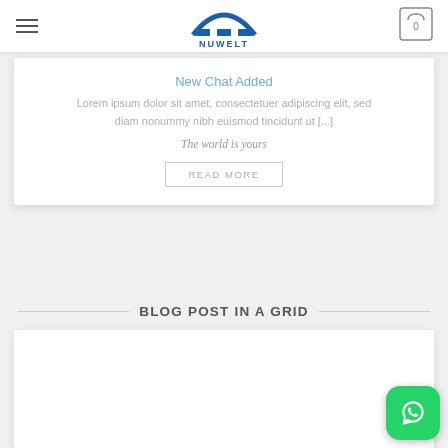NUWELT - The world is yours
New Chat Added
Lorem ipsum dolor sit amet, consectetuer adipiscing elit, sed diam nonummy nibh euismod tincidunt ut [...]
The world is yours
READ MORE
BLOG POST IN A GRID
[Figure (other): Empty white blog post card placeholder]